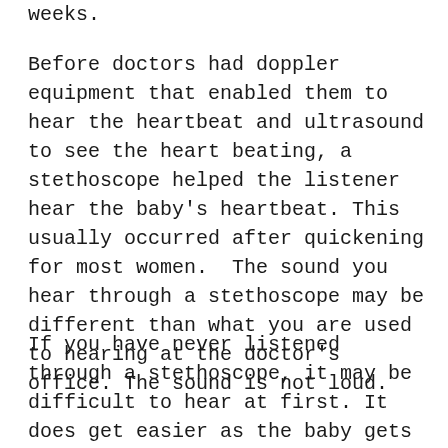weeks.
Before doctors had doppler equipment that enabled them to hear the heartbeat and ultrasound to see the heart beating, a stethoscope helped the listener hear the baby's heartbeat. This usually occurred after quickening for most women.  The sound you hear through a stethoscope may be different than what you are used to hearing at the doctor's office. The sound is not loud.
If you have never listened through a stethoscope, it may be difficult to hear at first. It does get easier as the baby gets larger and sounds become louder. If you cannot hear your baby's heartbeat with a stethoscope, do not worry. It is not always